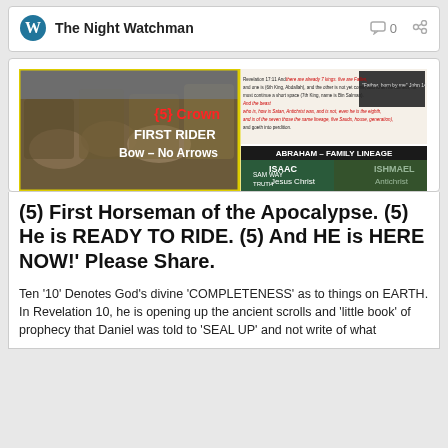The Night Watchman  0
[Figure (illustration): Composite image showing Four Horsemen painting on the left with text overlays '(5) Crown', 'FIRST RIDER', 'Bow – No Arrows', and a biblical genealogy diagram on the right showing Abraham Family Lineage with Isaac/Jesus Christ and Ishmael/Antichrist, plus a Revelation 17:11 scripture text block.]
(5) First Horseman of the Apocalypse. (5) He is READY TO RIDE. (5) And HE is HERE NOW!' Please Share.
Ten '10' Denotes God's divine 'COMPLETENESS' as to things on EARTH. In Revelation 10, he is opening up the ancient scrolls and 'little book' of prophecy that Daniel was told to 'SEAL UP' and not write of what